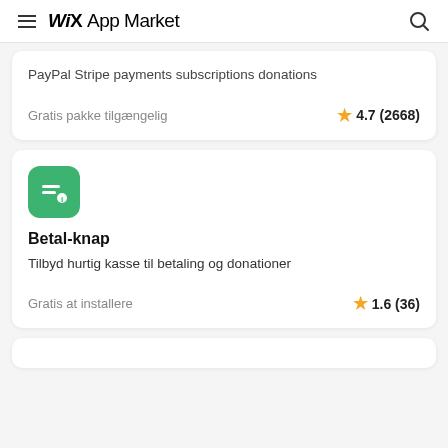WiX App Market
PayPal Stripe payments subscriptions donations
Gratis pakke tilgængelig
4.7 (2668)
[Figure (logo): Green rounded square icon with white horizontal lines and a small circle, representing Betal-knap app]
Betal-knap
Tilbyd hurtig kasse til betaling og donationer
Gratis at installere
1.6 (36)